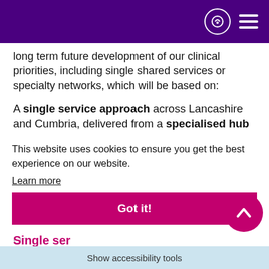[Purple navigation bar with listen and menu icons]
long term future development of our clinical priorities, including single shared services or specialty networks, which will be based on:
A single service approach across Lancashire and Cumbria, delivered from a specialised hub and with outreach across the network to provide care locally where possible
Or
Services provided from one central site as part of a single service offer for Lancashire and South Cumbria, in order to meet the volume and co-location required to meet national standards
This website uses cookies to ensure you get the best experience on our website.
Learn more
Got it!
Or
Single ser…
Show accessibility tools